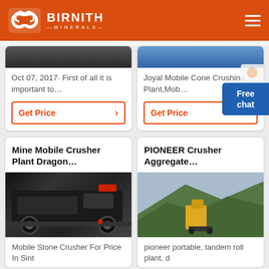[Figure (logo): Birnith Minerals logo with double-hexagon infinity icon in white on orange header, with hamburger menu icon on right]
Oct 07, 2017· First of all it is important to…
Get Price
Joyal Mobile Cone Crushing Plant,Mob…
Get Price
Free chat
Mine Mobile Crusher Plant Dragon…
[Figure (photo): Black tracked mobile crusher machine in industrial setting]
Mobile Stone Crusher For Price In Sint
PIONEER Crusher Aggregate…
[Figure (photo): Yellow crusher aggregate equipment at quarry site with rocky hillside]
pioneer portable, tandem roll plant, d